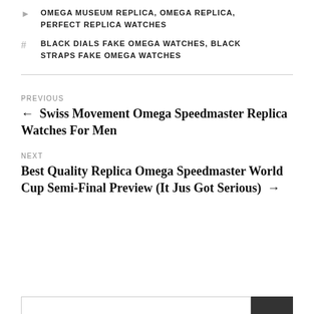OMEGA MUSEUM REPLICA, OMEGA REPLICA, PERFECT REPLICA WATCHES
BLACK DIALS FAKE OMEGA WATCHES, BLACK STRAPS FAKE OMEGA WATCHES
PREVIOUS
← Swiss Movement Omega Speedmaster Replica Watches For Men
NEXT
Best Quality Replica Omega Speedmaster World Cup Semi-Final Preview (It Jus Got Serious) →